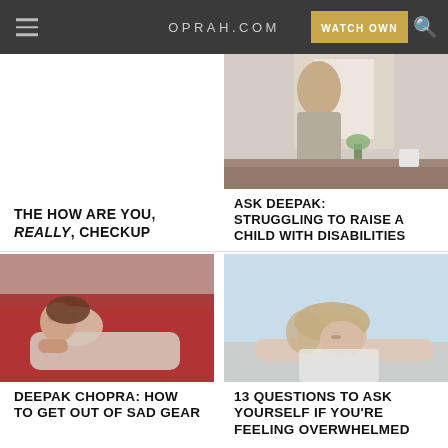OPRAH.COM
[Figure (photo): Woman sitting at kitchen table looking out window, seen from behind]
THE HOW ARE YOU, REALLY, CHECKUP
ASK DEEPAK: STRUGGLING TO RAISE A CHILD WITH DISABILITIES
[Figure (photo): Woman lying on red couch looking sad]
[Figure (photo): Woman slumped over desk looking exhausted]
DEEPAK CHOPRA: HOW TO GET OUT OF SAD GEAR
13 QUESTIONS TO ASK YOURSELF IF YOU'RE FEELING OVERWHELMED